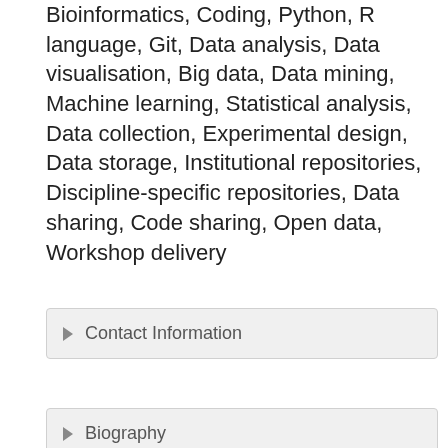Bioinformatics, Coding, Python, R language, Git, Data analysis, Data visualisation, Big data, Data mining, Machine learning, Statistical analysis, Data collection, Experimental design, Data storage, Institutional repositories, Discipline-specific repositories, Data sharing, Code sharing, Open data, Workshop delivery
Contact Information
Biography
[Figure (photo): Portrait photo of a young man with short dark hair and beard, smiling, wearing a black shirt, photographed outdoors with green garden foliage in the background]